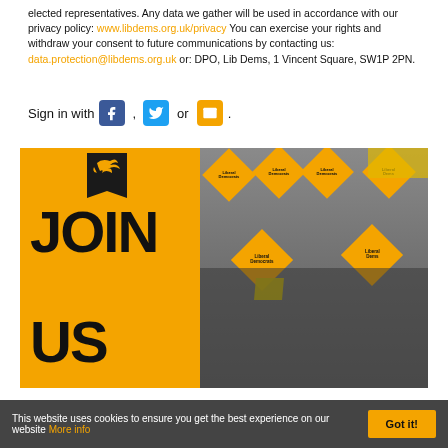elected representatives. Any data we gather will be used in accordance with our privacy policy: www.libdems.org.uk/privacy You can exercise your rights and withdraw your consent to future communications by contacting us: data.protection@libdems.org.uk or: DPO, Lib Dems, 1 Vincent Square, SW1P 2PN.
Sign in with [Facebook icon] , [Twitter icon] or [Email icon].
[Figure (photo): Liberal Democrats 'JOIN US' promotional image with orange background on the left showing 'JOIN US' bold text and the Lib Dem bird logo, and a crowd of people holding Liberal Democrats diamond-shaped orange signs on the right.]
This website uses cookies to ensure you get the best experience on our website More info [Got it! button]